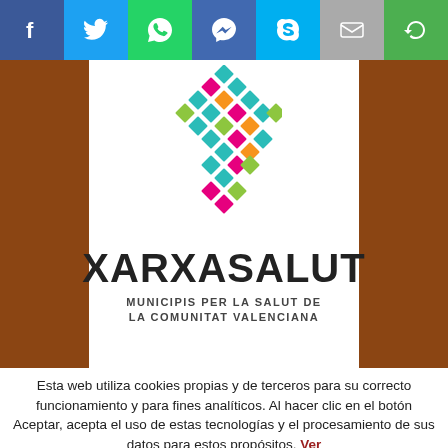[Figure (infographic): Social sharing bar with icons for Facebook, Twitter, WhatsApp, Messenger, Skype, Email, and a share icon on colored backgrounds]
[Figure (logo): Xarxasalut logo — colorful diamond/rhombus pattern made of small rotated squares in teal, pink, green, orange — above the text XARXASALUT and subtitle MUNICIPIS PER LA SALUT DE LA COMUNITAT VALENCIANA]
Esta web utiliza cookies propias y de terceros para su correcto funcionamiento y para fines analíticos. Al hacer clic en el botón Aceptar, acepta el uso de estas tecnologías y el procesamiento de sus datos para estos propósitos. Ver
RECHAZAR
ACEPTAR